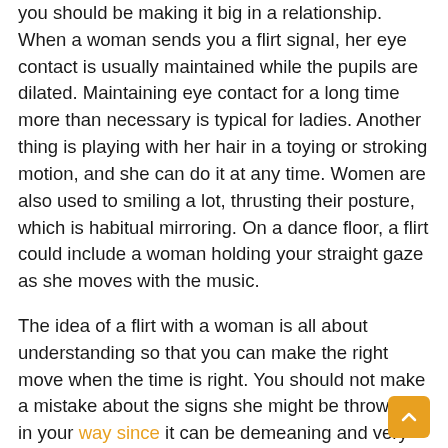you should be making it big in a relationship. When a woman sends you a flirt signal, her eye contact is usually maintained while the pupils are dilated. Maintaining eye contact for a long time more than necessary is typical for ladies. Another thing is playing with her hair in a toying or stroking motion, and she can do it at any time. Women are also used to smiling a lot, thrusting their posture, which is habitual mirroring. On a dance floor, a flirt could include a woman holding your straight gaze as she moves with the music.
The idea of a flirt with a woman is all about understanding so that you can make the right move when the time is right. You should not make a mistake about the signs she might be throwing in your way since it can be demeaning and very hurting if she does it without such a resolve.